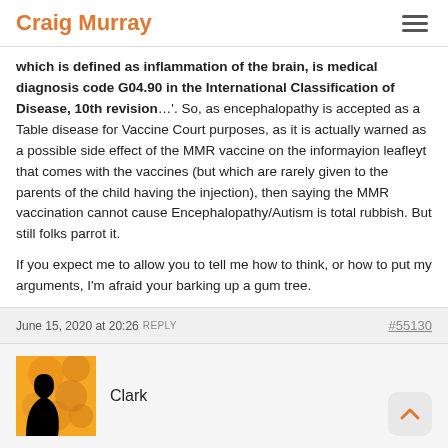Craig Murray
which is defined as inflammation of the brain, is medical diagnosis code G04.90 in the International Classification of Disease, 10th revision…'. So, as encephalopathy is accepted as a Table disease for Vaccine Court purposes, as it is actually warned as a possible side effect of the MMR vaccine on the informayion leafleyt that comes with the vaccines (but which are rarely given to the parents of the child having the injection), then saying the MMR vaccination cannot cause Encephalopathy/Autism is total rubbish. But still folks parrot it.

If you expect me to allow you to tell me how to think, or how to put my arguments, I'm afraid your barking up a gum tree.
June 15, 2020 at 20:26 REPLY   #55130
Clark